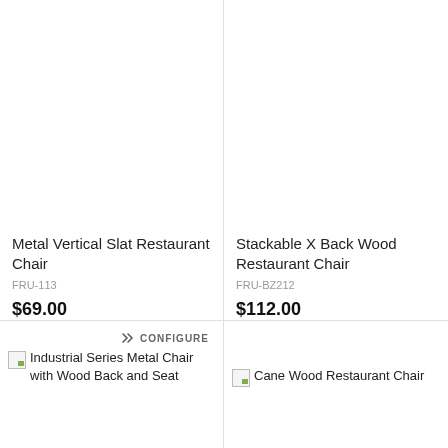[Figure (photo): Empty white product image area for Metal Vertical Slat Restaurant Chair]
Metal Vertical Slat Restaurant Chair
FRU-113
$69.00
[Figure (photo): Empty white product image area for Stackable X Back Wood Restaurant Chair]
Stackable X Back Wood Restaurant Chair
FRU-BZ212
$112.00
CONFIGURE
[Figure (photo): Broken image icon for Industrial Series Metal Chair with Wood Back and Seat]
Industrial Series Metal Chair with Wood Back and Seat
[Figure (photo): Broken image icon for Cane Wood Restaurant Chair]
Cane Wood Restaurant Chair